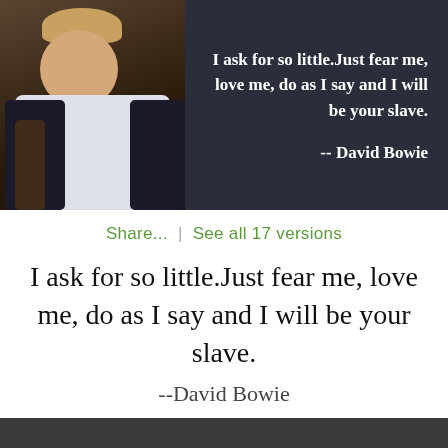[Figure (photo): Dark background image with a performer in a white ruffled shirt holding a guitar on the left side, with a quote overlaid on the right side against a dark navy background.]
Share...  |  See all 17 versions
I ask for so little.Just fear me, love me, do as I say and I will be your slave.
--David Bowie